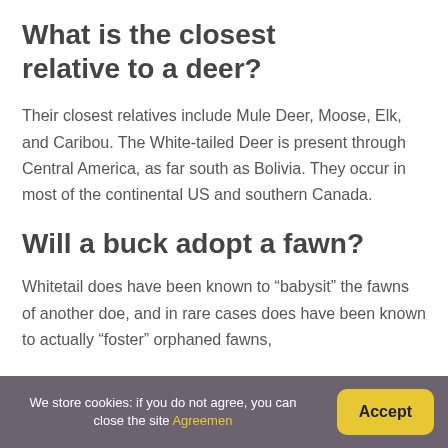What is the closest relative to a deer?
Their closest relatives include Mule Deer, Moose, Elk, and Caribou. The White-tailed Deer is present through Central America, as far south as Bolivia. They occur in most of the continental US and southern Canada.
Will a buck adopt a fawn?
Whitetail does have been known to “babysit” the fawns of another doe, and in rare cases does have been known to actually “foster” orphaned fawns,
We store cookies: if you do not agree, you can close the site Agreemen  Accept